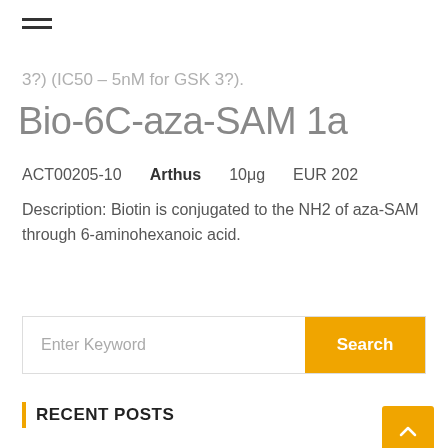≡ (hamburger menu icon)
3?) (IC50 – 5nM for GSK 3?).
Bio-6C-aza-SAM 1a
ACT00205-10  Arthus  10μg  EUR 202
Description: Biotin is conjugated to the NH2 of aza-SAM through 6-aminohexanoic acid.
Enter Keyword  Search
RECENT POSTS
Solid waste quantification and characterization in university of Nigeria,